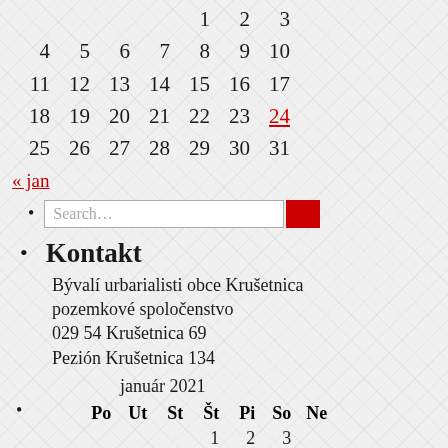|  |  | 1 | 2 | 3 |
| 4 | 5 | 6 | 7 | 8 | 9 | 10 |
| 11 | 12 | 13 | 14 | 15 | 16 | 17 |
| 18 | 19 | 20 | 21 | 22 | 23 | 24 |
| 25 | 26 | 27 | 28 | 29 | 30 | 31 |
« jan
Search…
Kontakt
Bývalí urbarialisti obce Krušetnica pozemkové spoločenstvo
029 54 Krušetnica 69
Pezión Krušetnica 134
január 2021
| Po | Ut | St | Št | Pi | So | Ne |
| --- | --- | --- | --- | --- | --- | --- |
|  |  |  | 1 | 2 | 3 |
| 4 | 5 | 6 | 7 | 8 | 9 | 10 |
| 11 | 12 | 13 | 14 | 15 | 16 | 17 |
| 18 | 19 | 20 | 21 | 22 | 23 | 24 |